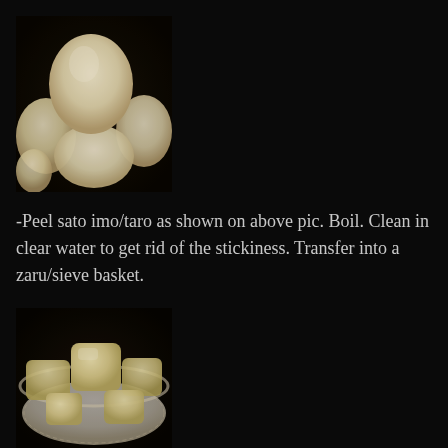[Figure (photo): Peeled sato imo/taro roots, pale cream-white colored, rounded irregular shapes, piled together on a dark background]
-Peel sato imo/taro as shown on above pic. Boil. Clean in clear water to get rid of the stickiness. Transfer into a zaru/sieve basket.
[Figure (photo): Boiled and cleaned sato imo/taro pieces, cut into chunks, pale yellowish color, in a white colander/sieve basket]